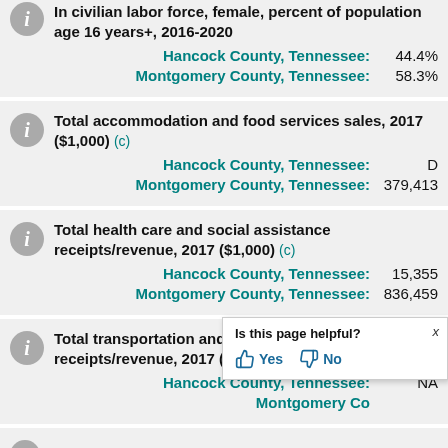In civilian labor force, female, percent of population age 16 years+, 2016-2020
Hancock County, Tennessee: 44.4%
Montgomery County, Tennessee: 58.3%
Total accommodation and food services sales, 2017 ($1,000) (c)
Hancock County, Tennessee: D
Montgomery County, Tennessee: 379,413
Total health care and social assistance receipts/revenue, 2017 ($1,000) (c)
Hancock County, Tennessee: 15,355
Montgomery County, Tennessee: 836,459
Total transportation and warehousing receipts/revenue, 2017 ($1,000) (c)
Hancock County, Tennessee: NA
Montgomery County, Tennessee: ...